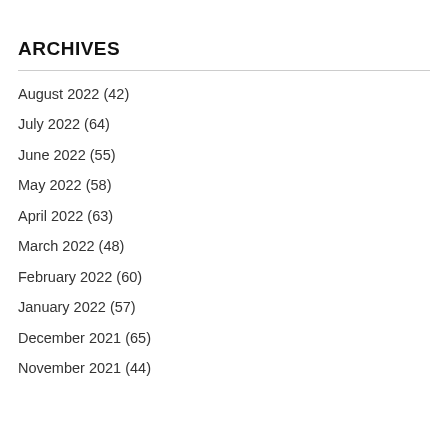ARCHIVES
August 2022 (42)
July 2022 (64)
June 2022 (55)
May 2022 (58)
April 2022 (63)
March 2022 (48)
February 2022 (60)
January 2022 (57)
December 2021 (65)
November 2021 (44)